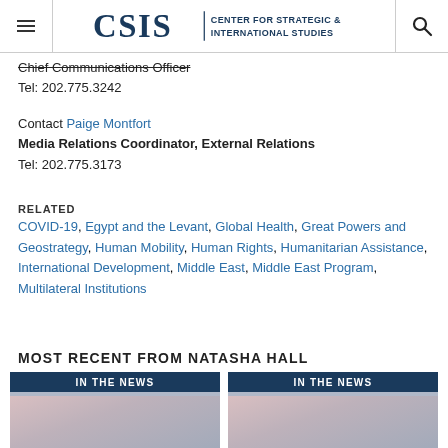CSIS | Center for Strategic & International Studies
Chief Communications Officer
Tel: 202.775.3242
Contact Paige Montfort
Media Relations Coordinator, External Relations
Tel: 202.775.3173
RELATED
COVID-19, Egypt and the Levant, Global Health, Great Powers and Geostrategy, Human Mobility, Human Rights, Humanitarian Assistance, International Development, Middle East, Middle East Program, Multilateral Institutions
MOST RECENT FROM NATASHA HALL
[Figure (screenshot): IN THE NEWS card with image]
[Figure (screenshot): IN THE NEWS card with image]